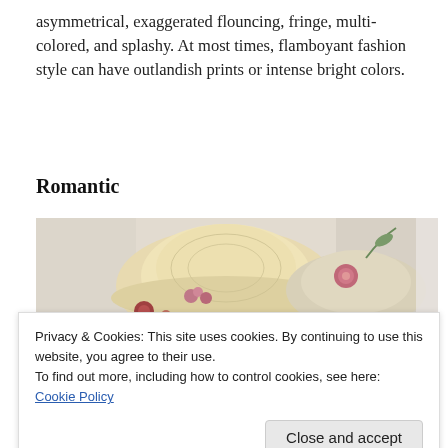asymmetrical, exaggerated flouncing, fringe, multi-colored, and splashy. At most times, flamboyant fashion style can have outlandish prints or intense bright colors.
Romantic
[Figure (photo): Photo of decorative hats with flowers, displayed on a surface with white drapes or curtains in the background.]
Privacy & Cookies: This site uses cookies. By continuing to use this website, you agree to their use.
To find out more, including how to control cookies, see here:
Cookie Policy
Close and accept